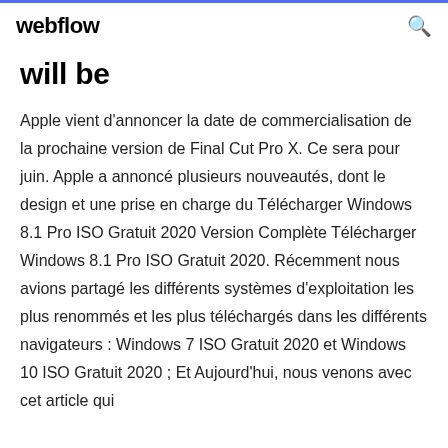webflow
will be
Apple vient d'annoncer la date de commercialisation de la prochaine version de Final Cut Pro X. Ce sera pour juin. Apple a annoncé plusieurs nouveautés, dont le design et une prise en charge du Télécharger Windows 8.1 Pro ISO Gratuit 2020 Version Complète Télécharger Windows 8.1 Pro ISO Gratuit 2020. Récemment nous avions partagé les différents systèmes d'exploitation les plus renommés et les plus téléchargés dans les différents navigateurs : Windows 7 ISO Gratuit 2020 et Windows 10 ISO Gratuit 2020 ; Et Aujourd'hui, nous venons avec cet article qui